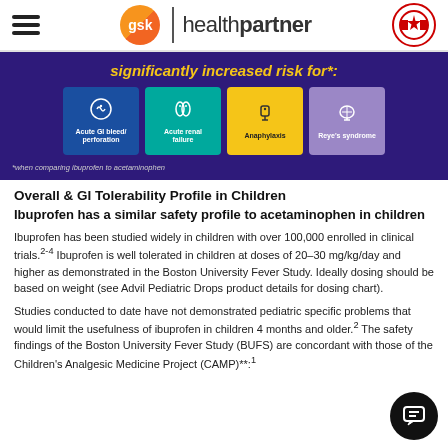GSK healthpartner Canada
[Figure (infographic): Banner with dark purple background showing 'significantly increased risk for*:' in yellow italic bold text, with four colored cards: blue (Acute GI bleed/perforation), teal (Acute renal failure), yellow (Anaphylaxis), purple (Reye's syndrome). Footnote: *when comparing ibuprofen to acetaminophen]
Overall & GI Tolerability Profile in Children
Ibuprofen has a similar safety profile to acetaminophen in children
Ibuprofen has been studied widely in children with over 100,000 enrolled in clinical trials.2-4 Ibuprofen is well tolerated in children at doses of 20–30 mg/kg/day and higher as demonstrated in the Boston University Fever Study. Ideally dosing should be based on weight (see Advil Pediatric Drops product details for dosing chart).
Studies conducted to date have not demonstrated pediatric specific problems that would limit the usefulness of ibuprofen in children 4 months and older.2 The safety findings of the Boston University Fever Study (BUFS) are concordant with those of the Children's Analgesic Medicine Project (CAMP)**:1